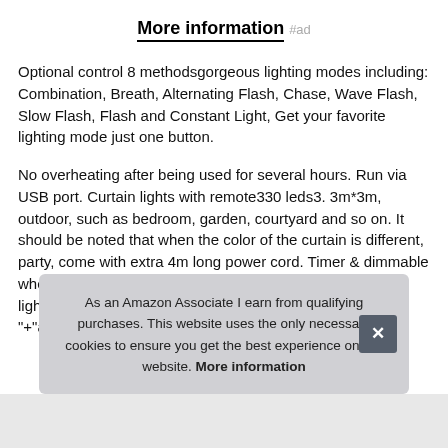More information #ad
Optional control 8 methodsgorgeous lighting modes including: Combination, Breath, Alternating Flash, Chase, Wave Flash, Slow Flash, Flash and Constant Light, Get your favorite lighting mode just one button.
No overheating after being used for several hours. Run via USB port. Curtain lights with remote330 leds3. 3m*3m, outdoor, such as bedroom, garden, courtyard and so on. It should be noted that when the color of the curtain is different, party, come with extra 4m long power cord. Timer & dimmable when you press the"timer"button on the remote control, the light "+"a
As an Amazon Associate I earn from qualifying purchases. This website uses the only necessary cookies to ensure you get the best experience on our website. More information